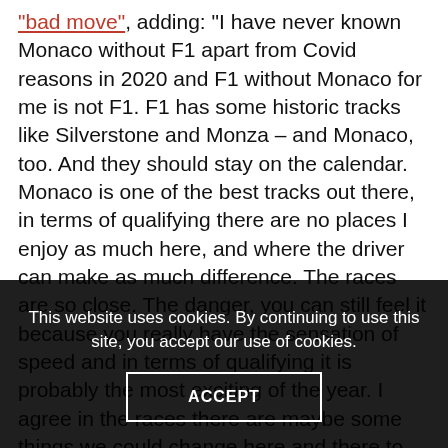"bad move", adding: "I have never known Monaco without F1 apart from Covid reasons in 2020 and F1 without Monaco for me is not F1. F1 has some historic tracks like Silverstone and Monza – and Monaco, too. And they should stay on the calendar. Monaco is one of the best tracks out there, in terms of qualifying there are no places I enjoy as much here, and where the driver can make as much difference. The races are so close. The danger, you can still feel it because you really have the sensation of speed and in terms of qualifying it is probably the most exciting of the year. I agree in the races there are maybe some things we could change here and there to help overtaking. But in terms of challenge for the drivers it is one of the toughest challenges of the year."
This website uses cookies. By continuing to use this site, you accept our use of cookies.
ACCEPT